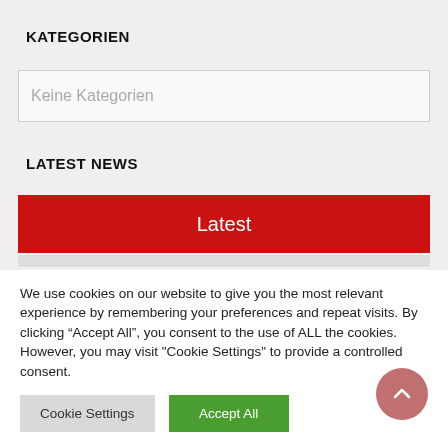KATEGORIEN
Keine Kategorien
LATEST NEWS
[Figure (other): Red button labeled 'Latest']
We use cookies on our website to give you the most relevant experience by remembering your preferences and repeat visits. By clicking “Accept All”, you consent to the use of ALL the cookies. However, you may visit "Cookie Settings" to provide a controlled consent.
Cookie Settings | Accept All